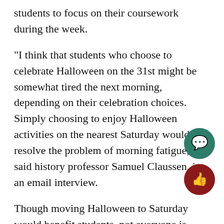students to focus on their coursework during the week.
“I think that students who choose to celebrate Halloween on the 31st might be somewhat tired the next morning, depending on their celebration choices. Simply choosing to enjoy Halloween activities on the nearest Saturday would resolve the problem of morning fatigue,” said history professor Samuel Claussen, in an email interview.
Though moving Halloween to Saturday would benefit students, not everyone is ready to ditch the tradition of celebrating on the 31st just ye
Claussen said the Catholic Church designated Nov. 1 as All Hollows Day and Oct. 31 as All Hallows Eve in the early Middle Ages.
[Figure (illustration): Green circular chat/comment icon button]